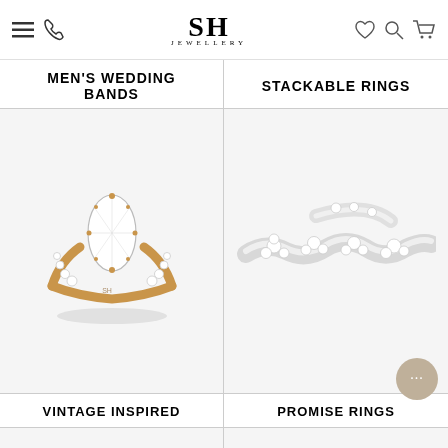SH JEWELLERY
MEN'S WEDDING BANDS
STACKABLE RINGS
[Figure (photo): A diamond marquise-cut engagement ring with yellow gold band and round diamonds on the shoulders, displayed on white background]
[Figure (photo): A white gold twisted/crossover diamond eternity band ring displayed on white background]
VINTAGE INSPIRED
PROMISE RINGS